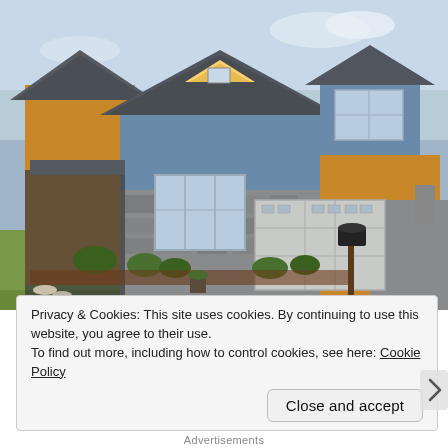[Figure (photo): Exterior photo of a two-story residential house with blue and yellow/orange siding, gray stone accents, a two-car garage, bay window, green lawn, landscaping, and a mailbox in the foreground.]
Privacy & Cookies: This site uses cookies. By continuing to use this website, you agree to their use.
To find out more, including how to control cookies, see here: Cookie Policy
Close and accept
Advertisements